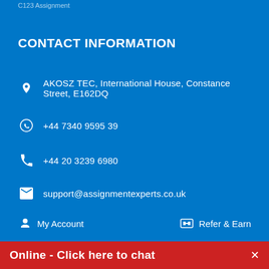C123 Assignment
CONTACT INFORMATION
AKOSZ TEC, International House, Constance Street, E162DQ
+44 7340 9595 39
+44 20 3239 6980
support@assignmentexperts.co.uk
My Account
Refer & Earn
Short Questions
Queries / Modules
Online - Click here to chat